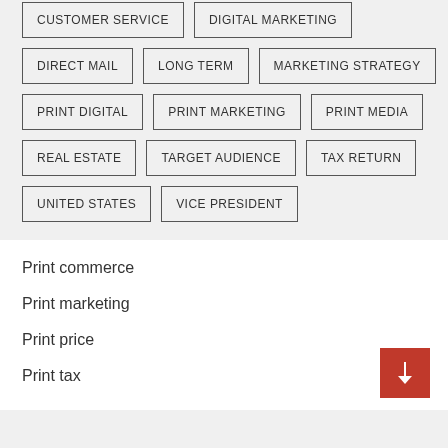CUSTOMER SERVICE
DIGITAL MARKETING
DIRECT MAIL
LONG TERM
MARKETING STRATEGY
PRINT DIGITAL
PRINT MARKETING
PRINT MEDIA
REAL ESTATE
TARGET AUDIENCE
TAX RETURN
UNITED STATES
VICE PRESIDENT
Print commerce
Print marketing
Print price
Print tax